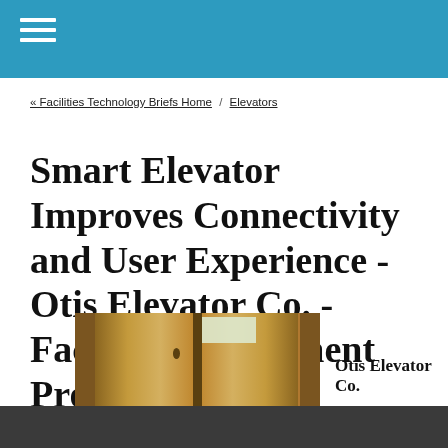« Facilities Technology Briefs Home / Elevators
Smart Elevator Improves Connectivity and User Experience - Otis Elevator Co. - Facility Management Product Release
[Figure (photo): Photo of elevator interior showing wooden/gold-colored elevator doors partially open, revealing elevator cab interior with ceiling light]
Otis Elevator Co.